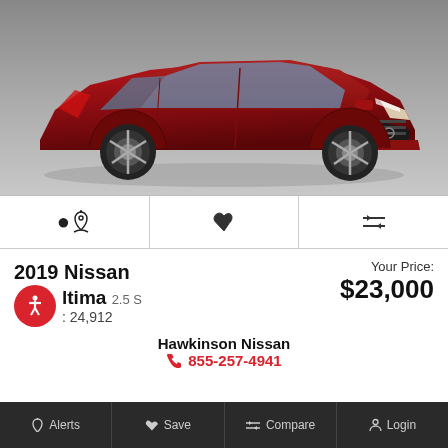[Figure (photo): Red 2019 Nissan Altima sedan on a gray gradient background, front three-quarter view facing right]
🔔  ♥  ⇌
2019 Nissan Altima 2.5 S
: 24,912
Your Price:
$23,000
Hawkinson Nissan
855-257-4941
Alerts  Save  Compare  Login